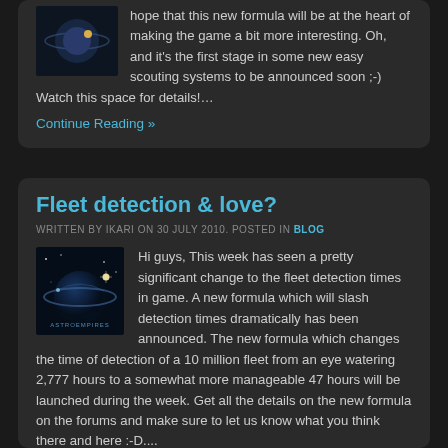hope that this new formula will be at the heart of making the game a bit more interesting. Oh, and it's the first stage in some new easy scouting systems to be announced soon ;-) Watch this space for details!…
Continue Reading »
Fleet detection & love?
WRITTEN BY IKARI ON 30 JULY 2010. POSTED IN BLOG
Hi guys, This week has seen a pretty significant change to the fleet detection times in game. A new formula which will slash detection times dramatically has been announced. The new formula which changes the time of detection of a 10 million fleet from an eye watering 2,777 hours to a somewhat more manageable 47 hours will be launched during the week. Get all the details on the new formula on the forums and make sure to let us know what you think there and here :-D....